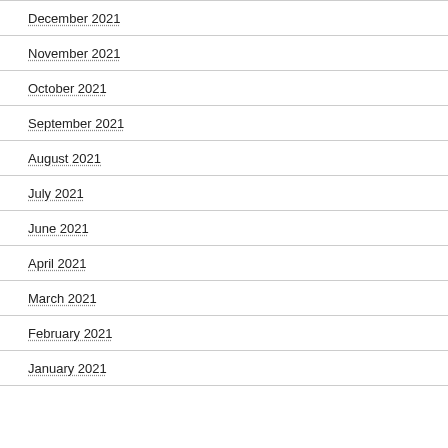December 2021
November 2021
October 2021
September 2021
August 2021
July 2021
June 2021
April 2021
March 2021
February 2021
January 2021